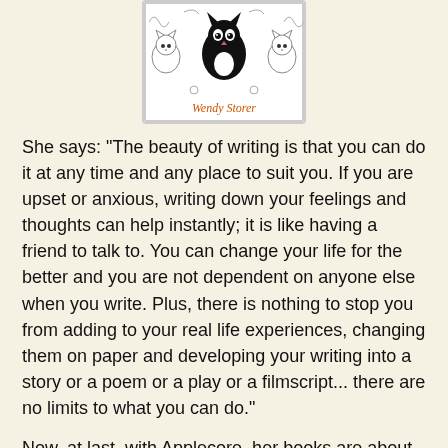[Figure (illustration): Book cover illustration showing cats with the author name 'Wendy Storer' written in orange/red cursive at the bottom]
She says: "The beauty of writing is that you can do it at any time and any place to suit you. If you are upset or anxious, writing down your feelings and thoughts can help instantly; it is like having a friend to talk to. You can change your life for the better and you are not dependent on anyone else when you write. Plus, there is nothing to stop you from adding to your real life experiences, changing them on paper and developing your writing into a story or a poem or a play or a filmscript... there are no limits to what you can do."
Now, at last, with Applecore, her books are about to reach the audience they so richly deserve. She couldn't be happier.
She said: "Applecore is very exciting. It's taken me a while to get my head around it, but I won a place at the Writers and Artists self publishing conference a couple of weeks ago and now I am totally up for it. (See my blog for reports on how